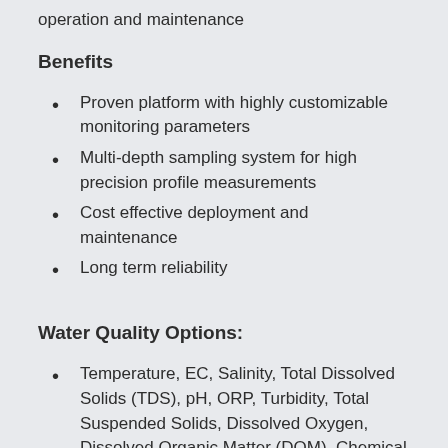operation and maintenance
Benefits
Proven platform with highly customizable monitoring parameters
Multi-depth sampling system for high precision profile measurements
Cost effective deployment and maintenance
Long term reliability
Water Quality Options:
Temperature, EC, Salinity, Total Dissolved Solids (TDS), pH, ORP, Turbidity, Total Suspended Solids, Dissolved Oxygen, Dissolved Organic Matter (DOM), Chemical Oxygen Demand (COD),